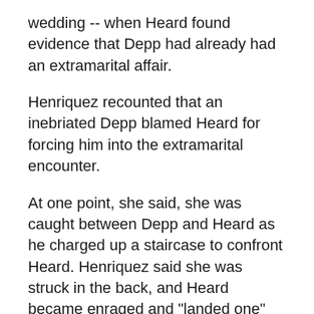wedding -- when Heard found evidence that Depp had already had an extramarital affair.
Henriquez recounted that an inebriated Depp blamed Heard for forcing him into the extramarital encounter.
At one point, she said, she was caught between Depp and Heard as he charged up a staircase to confront Heard. Henriquez said she was struck in the back, and Heard became enraged and "landed one" on Depp, with Henriquez stuck between the two.
One of Depp's bodyguards intervened and broke up the fight but "by that time Johnny had already grabbed Amber by the hair with one hand and was whacking her repeatedly in the